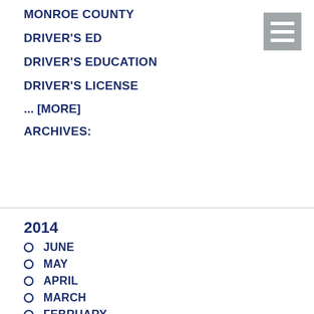MONROE COUNTY
DRIVER'S ED
DRIVER'S EDUCATION
DRIVER'S LICENSE
... [MORE]
ARCHIVES:
2014
JUNE
MAY
APRIL
MARCH
FEBRUARY